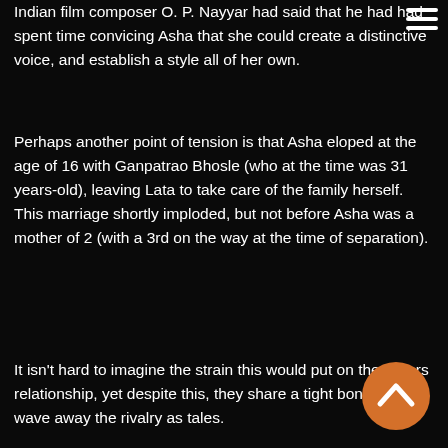Indian film composer O. P. Nayyar had said that he had had spent time convicing Asha that she could create a distinctive voice, and establish a style all of her own.
Perhaps another point of tension is that Asha eloped at the age of 16 with Ganpatrao Bhosle (who at the time was 31 years-old), leaving Lata to take care of the family herself. This marriage shortly imploded, but not before Asha was a mother of 2 (with a 3rd on the way at the time of separation).
It isn't hard to imagine the strain this would put on the sisters relationship, yet despite this, they share a tight bond and wave away the rivalry as tales.
[Figure (illustration): Orange circular back-to-top button with upward chevron arrow icon, bottom right corner]